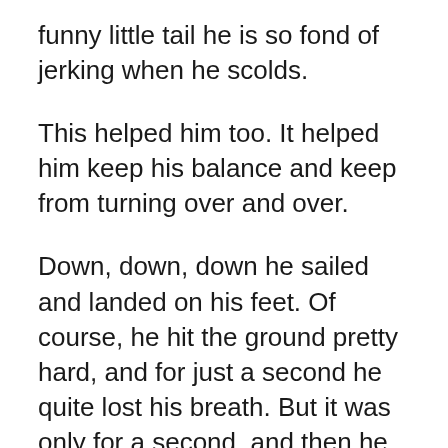funny little tail he is so fond of jerking when he scolds.
This helped him too. It helped him keep his balance and keep from turning over and over.
Down, down, down he sailed and landed on his feet. Of course, he hit the ground pretty hard, and for just a second he quite lost his breath. But it was only for a second, and then he was scurrying off as fast as a frightened Squirrel could. Buster Bear watched him and grinned.
“I didn’t catch him that time,” he growled, “but I guess I gave him a good fright and taught him a lesson.”